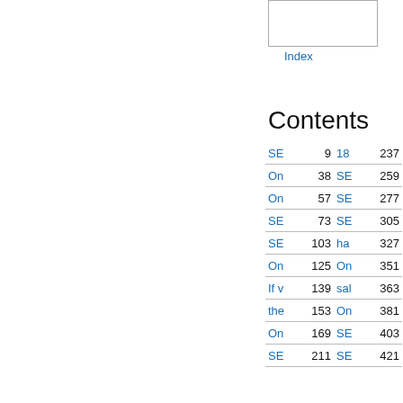[Figure (other): Partial image/thumbnail at top right]
Index
Contents
| Title | Page | Title | Page |
| --- | --- | --- | --- |
| SE | 9 | 18 | 237 |
| On | 38 | SE | 259 |
| On | 57 | SE | 277 |
| SE | 73 | SE | 305 |
| SE | 103 | ha | 327 |
| On | 125 | On | 351 |
| If v | 139 | sal | 363 |
| the | 153 | On | 381 |
| On | 169 | SE | 403 |
| SE | 211 | SE | 421 |